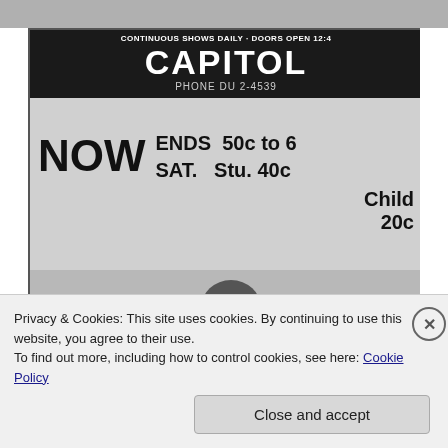[Figure (photo): Top gray image strip from a scanned webpage]
[Figure (photo): Vintage Capitol Theatre newspaper advertisement showing: CONTINUOUS SHOWS DAILY - DOORS OPEN 12:45, CAPITOL, PHONE DU 2-4539, NOW ENDS SAT. 50c to 6, Stu. 40c, Child 20c, THE [movie title cut off], with mountain/landscape silhouette imagery]
Privacy & Cookies: This site uses cookies. By continuing to use this website, you agree to their use.
To find out more, including how to control cookies, see here: Cookie Policy
Close and accept